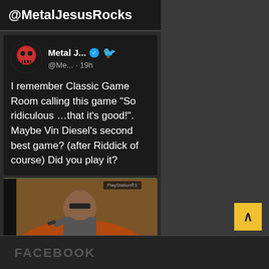@MetalJesusRocks
[Figure (screenshot): Twitter/social media post from Metal J... (@Me...) posted 19h ago with verified badge and Twitter bird icon. Avatar shows a red skull. Tweet text: I remember Classic Game Room calling this game “So ridiculous …that it’s good!”. Maybe Vin Diesel’s second best game? (after Riddick of course) Did you play it?]
[Figure (photo): Photo of a PS3 game case for Wheelman being held up, showing Vin Diesel on the cover with the WHEELMAN logo.]
FACEBOOK